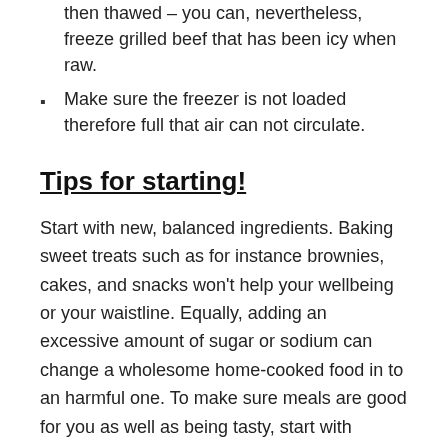then thawed – you can, nevertheless, freeze grilled beef that has been icy when raw.
Make sure the freezer is not loaded therefore full that air can not circulate.
Tips for starting!
Start with new, balanced ingredients. Baking sweet treats such as for instance brownies, cakes, and snacks won't help your wellbeing or your waistline. Equally, adding an excessive amount of sugar or sodium can change a wholesome home-cooked food in to an harmful one. To make sure meals are good for you as well as being tasty, start with healthy ingredients and flavor with herbs as opposed to sugar or salt.
Stock on staples. Elements such as for example grain,